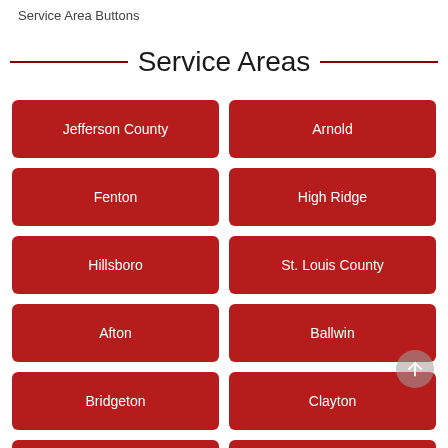Service Area Buttons
Service Areas
Jefferson County
Arnold
Fenton
High Ridge
Hillsboro
St. Louis County
Afton
Ballwin
Bridgeton
Clayton
Crestwood
Creve Coeur